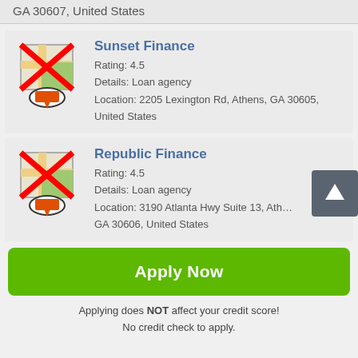GA 30607, United States
[Figure (screenshot): Map pin icon with red X overlay for Sunset Finance listing]
Sunset Finance
Rating: 4.5
Details: Loan agency
Location: 2205 Lexington Rd, Athens, GA 30605, United States
[Figure (screenshot): Map pin icon with red X overlay for Republic Finance listing]
Republic Finance
Rating: 4.5
Details: Loan agency
Location: 3190 Atlanta Hwy Suite 13, Athens, GA 30606, United States
Apply Now
Applying does NOT affect your credit score!
No credit check to apply.